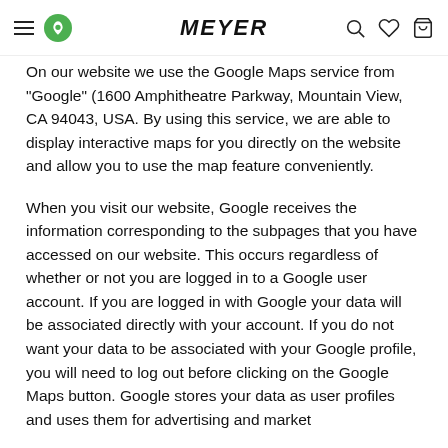MEYER
On our website we use the Google Maps service from "Google" (1600 Amphitheatre Parkway, Mountain View, CA 94043, USA. By using this service, we are able to display interactive maps for you directly on the website and allow you to use the map feature conveniently.
When you visit our website, Google receives the information corresponding to the subpages that you have accessed on our website. This occurs regardless of whether or not you are logged in to a Google user account. If you are logged in with Google your data will be associated directly with your account. If you do not want your data to be associated with your Google profile, you will need to log out before clicking on the Google Maps button. Google stores your data as user profiles and uses them for advertising and market